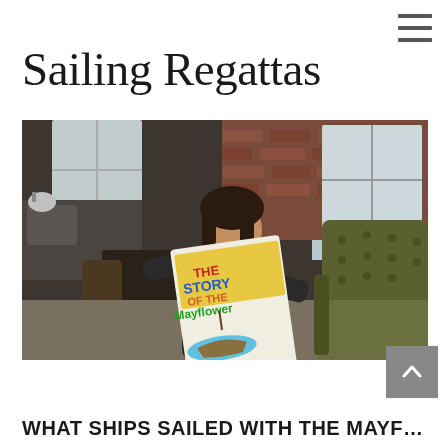Sailing Regattas
[Figure (photo): A young man with medium-length dark hair sits in a tufted green velvet armchair holding up a colorful illustrated book or record titled 'The Story of the Mayflower'. The background shows a kitchen/living area with brick walls and large windows.]
WHAT SHIPS SAILED WITH THE MAYF...